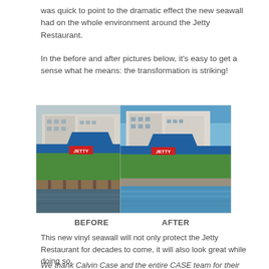was quick to point to the dramatic effect the new seawall had on the whole environment around the Jetty Restaurant.
In the before and after pictures below, it's easy to get a sense what he means: the transformation is striking!
[Figure (photo): Before photo of the Jetty Restaurant viewed from water, with old seawall, cloudy sky]
[Figure (photo): After photo of the Jetty Restaurant viewed from water, with new vinyl seawall, clear blue sky]
BEFORE
AFTER
This new vinyl seawall will not only protect the Jetty Restaurant for decades to come, it will also look great while doing so.
We thank Calvin Case and the entire CASE team for their hard work